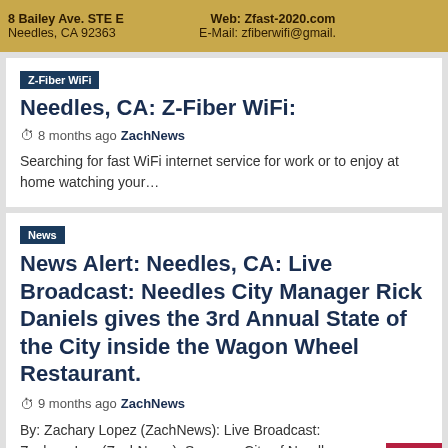8 Bailey Ave. STE E Needles, CA 92363 Web: Zfast-2020.com E-Mail: zfiberwifi@gmail.com
Z-Fiber WiFi
Needles, CA: Z-Fiber WiFi:
8 months ago ZachNews
Searching for fast WiFi internet service for work or to enjoy at home watching your…
News
News Alert: Needles, CA: Live Broadcast: Needles City Manager Rick Daniels gives the 3rd Annual State of the City inside the Wagon Wheel Restaurant.
9 months ago ZachNews
By: Zachary Lopez (ZachNews): Live Broadcast: Zachary Lopez (ZachNews): Sources: City of Needles and Needles…